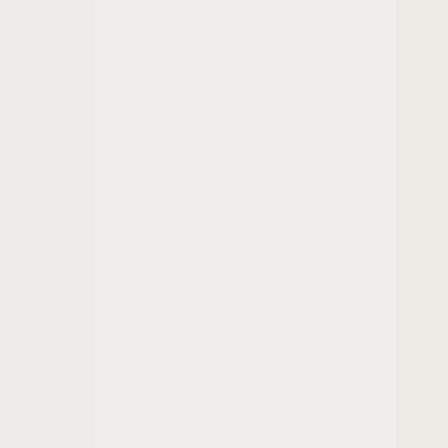nus its appreciation to all of the speakers who participated in the four-day conference and provided timely